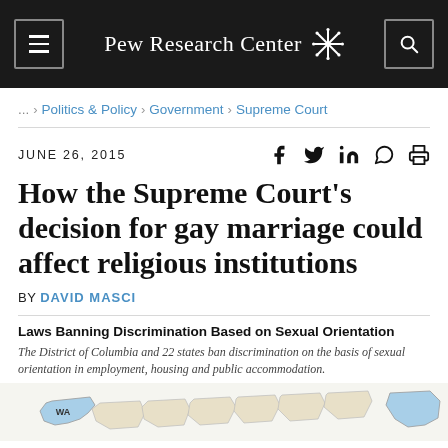Pew Research Center
... > Politics & Policy > Government > Supreme Court
JUNE 26, 2015
How the Supreme Court’s decision for gay marriage could affect religious institutions
BY DAVID MASCI
Laws Banning Discrimination Based on Sexual Orientation
The District of Columbia and 22 states ban discrimination on the basis of sexual orientation in employment, housing and public accommodation.
[Figure (map): Partial US map showing states with laws banning discrimination based on sexual orientation, with Washington (WA) visible in blue on the left side.]